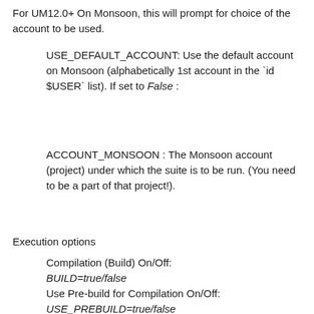For UM12.0+ On Monsoon, this will prompt for choice of the account to be used.
USE_DEFAULT_ACCOUNT: Use the default account on Monsoon (alphabetically 1st account in the `id $USER` list). If set to False :
ACCOUNT_MONSOON : The Monsoon account (project) under which the suite is to be run. (You need to be a part of that project!).
Execution options
Compilation (Build) On/Off:
BUILD=true/false
Use Pre-build for Compilation On/Off:
USE_PREBUILD=true/false
StratTrop Chemistry scheme: